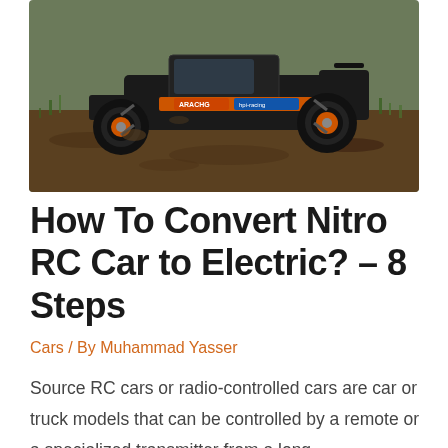[Figure (photo): An RC (radio-controlled) off-road buggy car with black body and orange wheel rims, parked on muddy terrain with grass in the background. The car appears to be an Arrma brand with HPI-Racing markings.]
How To Convert Nitro RC Car to Electric? – 8 Steps
Cars / By Muhammad Yasser
Source RC cars or radio-controlled cars are car or truck models that can be controlled by a remote or a specialized transmitter from a long